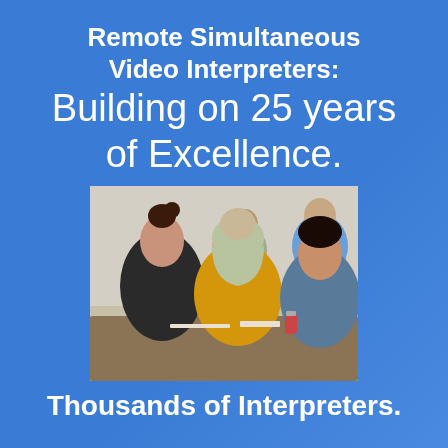Remote Simultaneous Video Interpreters:
Building on 25 years of Excellence.
[Figure (photo): Three women sitting together at a table in conversation, smiling. One wears a hijab and yellow top, one wears a black top, one wears denim. Other people visible in background in what appears to be a meeting or training room.]
Thousands of Interpreters.